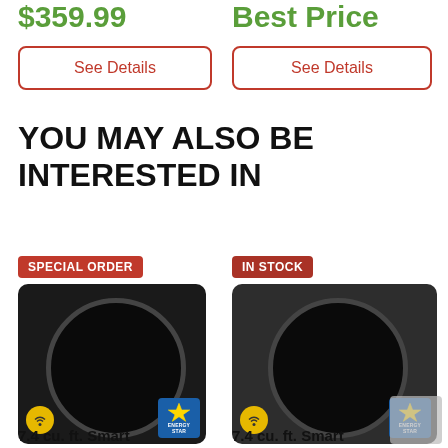$359.99
Best Price
See Details
See Details
YOU MAY ALSO BE INTERESTED IN
[Figure (photo): Black front-load washer/dryer with SPECIAL ORDER badge, WiFi icon, and Energy Star label]
[Figure (photo): Dark gray front-load washer/dryer with IN STOCK badge, WiFi icon, and Energy Star label]
7.4 cu. ft. Smart
7.4 cu. ft. Smart